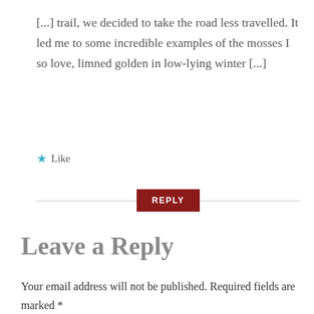[...] trail, we decided to take the road less travelled. It led me to some incredible examples of the mosses I so love, limned golden in low-lying winter [...]
★ Like
REPLY
Leave a Reply
Your email address will not be published. Required fields are marked *